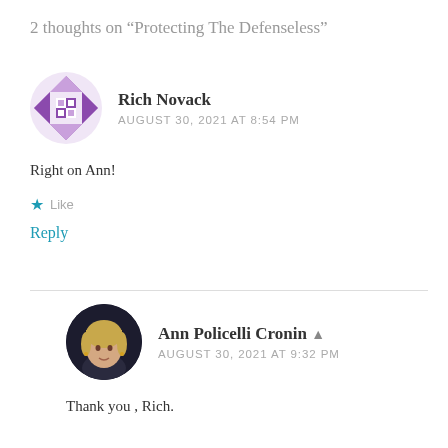2 thoughts on “Protecting The Defenseless”
[Figure (illustration): Purple geometric/quilt-pattern avatar icon for Rich Novack]
Rich Novack
AUGUST 30, 2021 AT 8:54 PM
Right on Ann!
Like
Reply
[Figure (photo): Circular photo avatar of Ann Policelli Cronin, a woman with short blonde hair against a dark background]
Ann Policelli Cronin
AUGUST 30, 2021 AT 9:32 PM
Thank you , Rich.